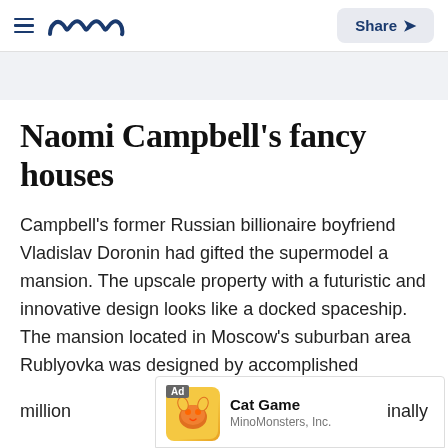Meaww — Share
Naomi Campbell's fancy houses
Campbell's former Russian billionaire boyfriend Vladislav Doronin had gifted the supermodel a mansion. The upscale property with a futuristic and innovative design looks like a docked spaceship. The mansion located in Moscow's suburban area Rublyovka was designed by accomplished architect Zaha Hadid. The house, which is currently on sale, cost $[Ad overlay] million[Ad overlay]inally
[Figure (screenshot): Advertisement overlay for Cat Game by MinoMonsters, Inc. with golden illustrated cat game artwork]